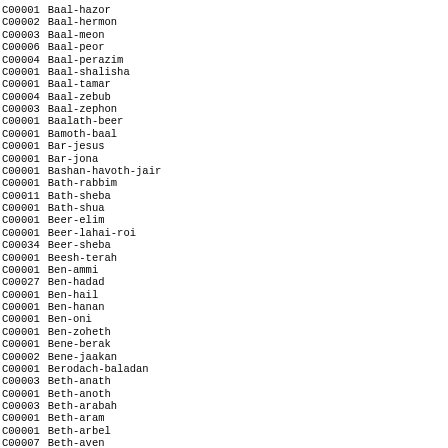| Code | Name |
| --- | --- |
| C00001 | Baal-hazor |
| C00002 | Baal-hermon |
| C00003 | Baal-meon |
| C00006 | Baal-peor |
| C00004 | Baal-perazim |
| C00001 | Baal-shalisha |
| C00001 | Baal-tamar |
| C00004 | Baal-zebub |
| C00003 | Baal-zephon |
| C00001 | Baalath-beer |
| C00001 | Bamoth-baal |
| C00001 | Bar-jesus |
| C00001 | Bar-jona |
| C00001 | Bashan-havoth-jair |
| C00001 | Bath-rabbim |
| C00011 | Bath-sheba |
| C00001 | Bath-shua |
| C00001 | Beer-elim |
| C00001 | Beer-lahai-roi |
| C00034 | Beer-sheba |
| C00001 | Beesh-terah |
| C00001 | Ben-ammi |
| C00027 | Ben-hadad |
| C00001 | Ben-hail |
| C00001 | Ben-hanan |
| C00001 | Ben-oni |
| C00001 | Ben-zoheth |
| C00001 | Bene-berak |
| C00002 | Bene-jaakan |
| C00001 | Berodach-baladan |
| C00003 | Beth-anath |
| C00001 | Beth-anoth |
| C00003 | Beth-arabah |
| C00001 | Beth-aram |
| C00001 | Beth-arbel |
| C00007 | Beth-aven |
| C00001 | Beth-azmaveth |
| C00001 | Beth-baal-meon |